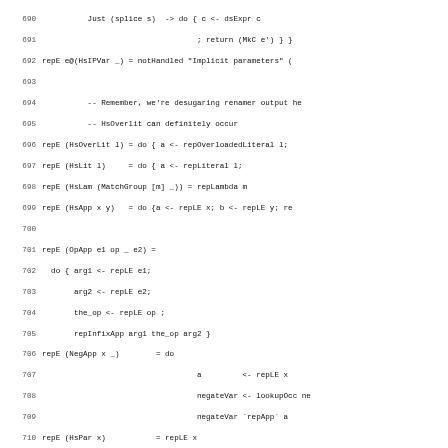[Figure (screenshot): Source code listing in monospace font showing Haskell code lines 690-722, including repE function definitions for various HsIPVar, HsOverLit, HsLit, HsLam, HsApp, OpApp, NegApp, HsPar, SectionL, SectionR, HsCase, HsIf, and HsLet constructors.]